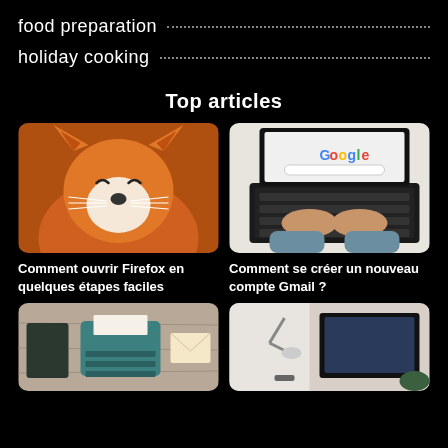food preparation
holiday cooking
Top articles
[Figure (illustration): Watercolor illustration of a cute fox/dog face with orange fur, closed eyes, and whiskers]
Comment ouvrir Firefox en quelques étapes faciles
[Figure (photo): Person typing on a black laptop showing Google homepage]
Comment se créer un nouveau compte Gmail ?
[Figure (photo): Teal typewriter with notebook and envelope on wooden surface]
[Figure (photo): Desk with monitor, lamp and workspace items]